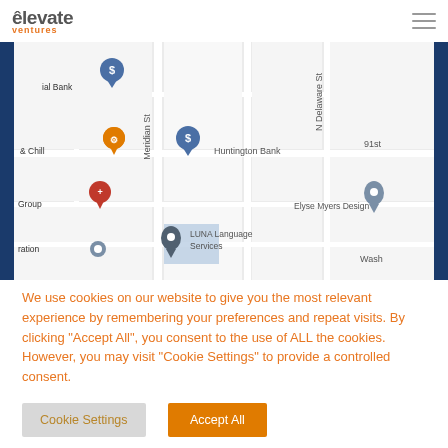elevate ventures — navigation header with hamburger menu
[Figure (map): Google Maps screenshot showing street map with Meridian St and N Delaware St, featuring map pins for: ial Bank (blue dollar pin), Huntington Bank (blue dollar pin), & Chill (orange restaurant pin), Group (red location pin), ration (gray pin), Elyse Myers Design (gray pin), LUNA Language Services (gray pin). Streets visible: Meridian St, N Delaware St, 91st, Wash(ington).]
We use cookies on our website to give you the most relevant experience by remembering your preferences and repeat visits. By clicking "Accept All", you consent to the use of ALL the cookies. However, you may visit "Cookie Settings" to provide a controlled consent.
Cookie Settings
Accept All